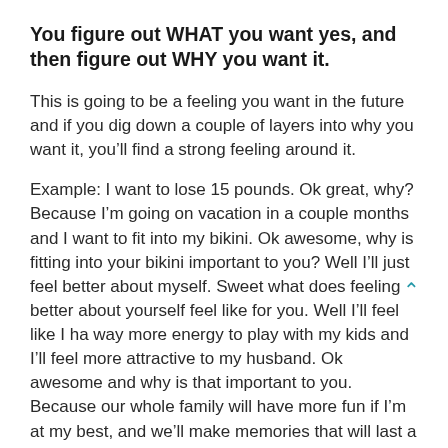You figure out WHAT you want yes, and then figure out WHY you want it.
This is going to be a feeling you want in the future and if you dig down a couple of layers into why you want it, you’ll find a strong feeling around it.
Example: I want to lose 15 pounds. Ok great, why? Because I’m going on vacation in a couple months and I want to fit into my bikini. Ok awesome, why is fitting into your bikini important to you? Well I’ll just feel better about myself. Sweet what does feeling better about yourself feel like for you. Well I’ll feel like I ha way more energy to play with my kids and I’ll feel more attractive to my husband. Ok awesome and why is that important to you. Because our whole family will have more fun if I’m at my best, and we’ll make memories that will last a lifetime on this trip. Ok perfect and why are making memories that last a